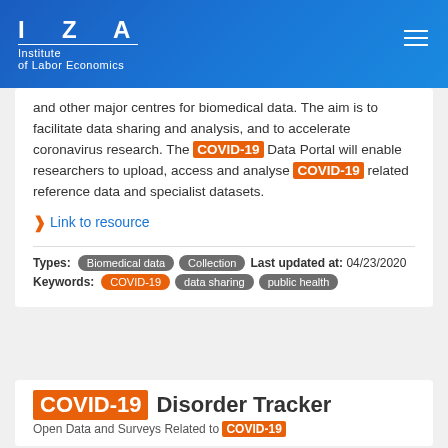IZA Institute of Labor Economics
and other major centres for biomedical data. The aim is to facilitate data sharing and analysis, and to accelerate coronavirus research. The COVID-19 Data Portal will enable researchers to upload, access and analyse COVID-19 related reference data and specialist datasets.
> Link to resource
Types: Biomedical data | Collection   Last updated at: 04/23/2020
Keywords: COVID-19 | data sharing | public health
COVID-19 Disorder Tracker
Open Data and Surveys Related to COVID-19